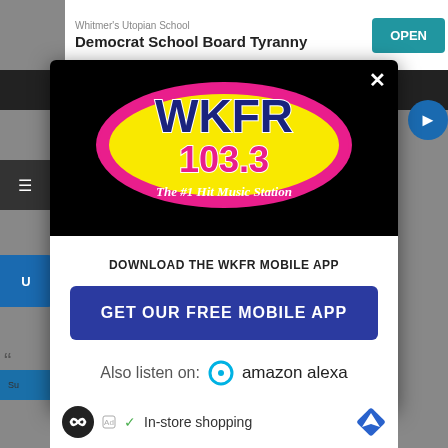[Figure (screenshot): WKFR 103.3 The #1 Hit Music Station radio station mobile app download popup modal overlay on a website. The modal has a black top section with the WKFR 103.3 logo (yellow and pink oval with blue text), a close X button, and a white bottom section with 'DOWNLOAD THE WKFR MOBILE APP' text, a dark blue 'GET OUR FREE MOBILE APP' button, and 'Also listen on: amazon alexa' text with Alexa icon. Behind the modal is a partially visible webpage with a top advertisement banner and a bottom ad bar showing 'In-store shopping'.]